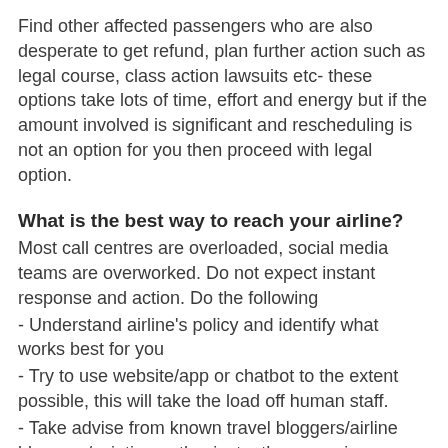Find other affected passengers who are also desperate to get refund, plan further action such as legal course, class action lawsuits etc- these options take lots of time, effort and energy but if the amount involved is significant and rescheduling is not an option for you then proceed with legal option.
What is the best way to reach your airline?
Most call centres are overloaded, social media teams are overworked. Do not expect instant response and action. Do the following
- Understand airline's policy and identify what works best for you
- Try to use website/app or chatbot to the extent possible, this will take the load off human staff.
- Take advise from known travel bloggers/airline bloggers/aviation enthusiasts- they can give more realistic, practical way out than official channels which often parrot template replies and are not authorized to do certain things (like giving refund)
- If you have to contact the airline call them 3-4 days before travel date if possible. This will allow them to attend those